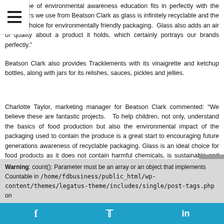“This type of environmental awareness education fits in perfectly with the containers we use from Beatson Clark as glass is infinitely recyclable and the perfect choice for environmentally friendly packaging. Glass also adds an air of quality about a product it holds, which certainly portrays our brands perfectly.”
Beatson Clark also provides Tracklements with its vinaigrette and ketchup bottles, along with jars for its relishes, sauces, pickles and jellies.
Charlotte Taylor, marketing manager for Beatson Clark commented: “We believe these are fantastic projects. To help children, not only, understand the basics of food production but also the environmental impact of the packaging used to contain the produce is a great start to encouraging future generations awareness of recyclable packaging. Glass is an ideal choice for food products as it does not contain harmful chemicals, is sustainable and recyclable.”
Warning: count(): Parameter must be an array or an object that implements Countable in /home/fdbusiness/public_html/wp-content/themes/legatus-theme/includes/single/post-tags.php on
[Figure (other): Social media share bar with Facebook, Twitter, and LinkedIn icons on a blue background]